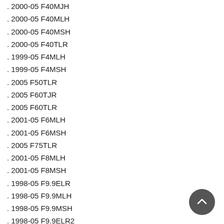. 2000-05 F40MJH
. 2000-05 F40MLH
. 2000-05 F40MSH
. 2000-05 F40TLR
. 1999-05 F4MLH
. 1999-05 F4MSH
. 2005 F50TLR
. 2005 F60TJR
. 2005 F60TLR
. 2001-05 F6MLH
. 2001-05 F6MSH
. 2005 F75TLR
. 2001-05 F8MLH
. 2001-05 F8MSH
. 1998-05 F9.9ELR
. 1998-05 F9.9MLH
. 1998-05 F9.9MSH
. 1998-05 F9.9ELR2
. 1998-05 F9.9MLH (partial, cut off)